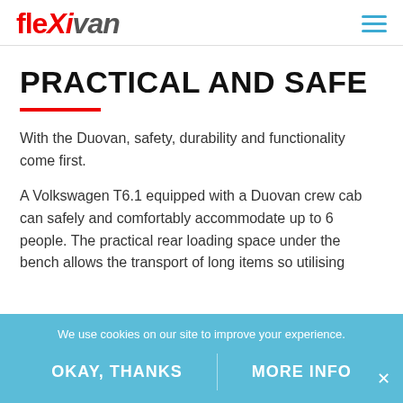FLeXiVan [logo] [hamburger menu]
PRACTICAL AND SAFE
With the Duovan, safety, durability and functionality come first.
A Volkswagen T6.1 equipped with a Duovan crew cab can safely and comfortably accommodate up to 6 people. The practical rear loading space under the bench allows the transport of long items so utilising
We use cookies on our site to improve your experience.
OKAY, THANKS
MORE INFO